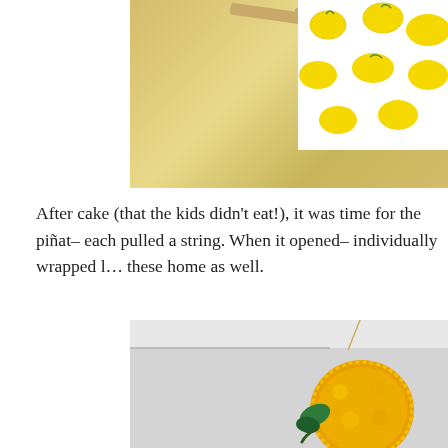[Figure (photo): Top photo showing a close-up of what appears to be a lemon-patterned fabric or wrapping with wooden sticks, against a yellow background]
After cake (that the kids didn't eat!), it was time for the piñata– each pulled a string. When it opened– individually wrapped l... these home as well.
[Figure (photo): Bottom photo showing a yellow fluffy piñata hanging from a string against a light gray ceiling/wall background, with green leaf decoration]